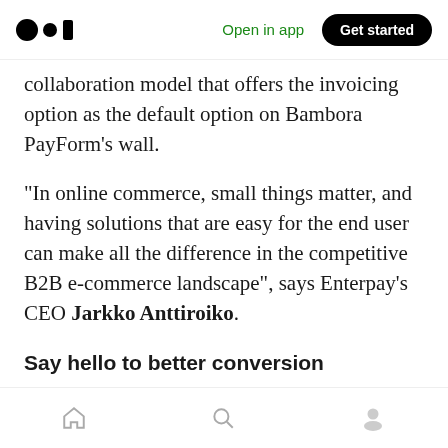Medium logo | Open in app | Get started
collaboration model that offers the invoicing option as the default option on Bambora PayForm's wall.
“In online commerce, small things matter, and having solutions that are easy for the end user can make all the difference in the competitive B2B e-commerce landscape”, says Enterpay’s CEO Jarkko Anttiroiko.
Say hello to better conversion
The collaboration is already yielding results, says Bambora’s Salminen.
Home | Search | Profile